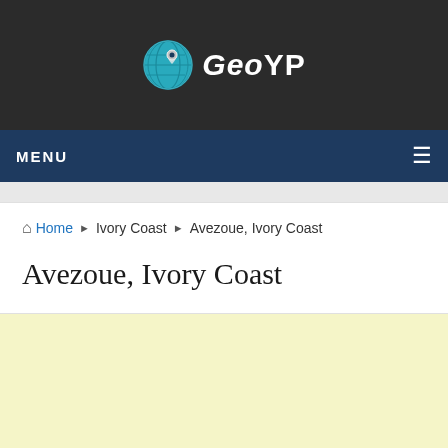[Figure (logo): GeoYP website logo with globe icon and text 'GeoYP' on dark background]
MENU ≡
🏠 Home ▶ Ivory Coast ▶ Avezoue, Ivory Coast
Avezoue, Ivory Coast
[Figure (other): Advertisement area with light yellow background]